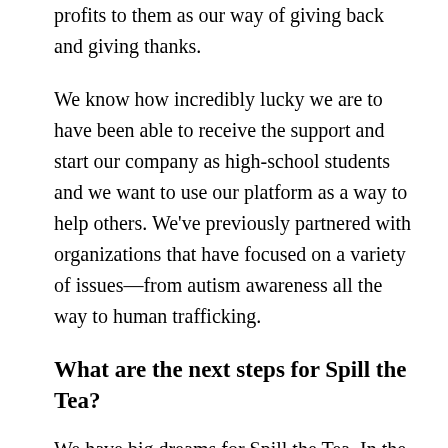profits to them as our way of giving back and giving thanks.
We know how incredibly lucky we are to have been able to receive the support and start our company as high-school students and we want to use our platform as a way to help others. We've previously partnered with organizations that have focused on a variety of issues—from autism awareness all the way to human trafficking.
What are the next steps for Spill the Tea?
We have big dreams for Spill the Tea. In the upcoming year, we want to take our online shop to the next level by selling at major retailers (grocery stores and cafés),